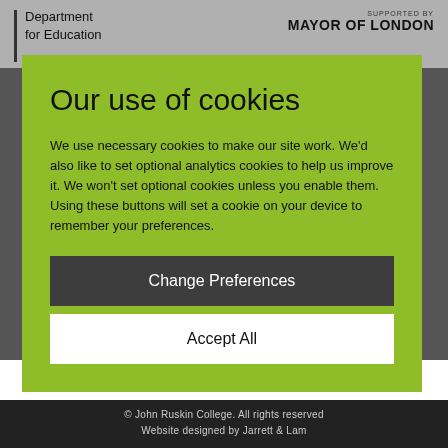Department for Education
SUPPORTED BY MAYOR OF LONDON
Our use of cookies
We use necessary cookies to make our site work. We'd also like to set optional analytics cookies to help us improve it. We won't set optional cookies unless you enable them. Using these buttons will set a cookie on your device to remember your preferences.
Change Preferences
Accept All
© John Ruskin College. All rights reserved
Website designed by Jarrett & Lam